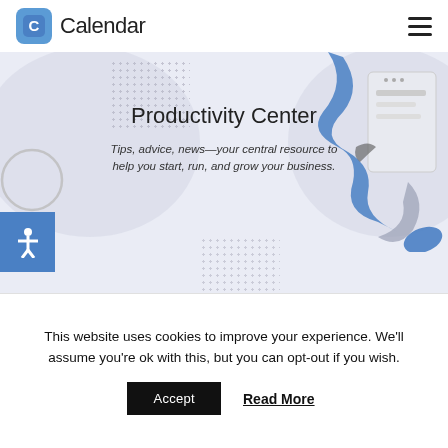Calendar
[Figure (illustration): Hero banner with decorative blobs, dotted patterns, accessibility icon, and illustrated phone/hand graphic on right side]
Productivity Center
Tips, advice, news—your central resource to help you start, run, and grow your business.
Home » Productivity Center
This website uses cookies to improve your experience. We'll assume you're ok with this, but you can opt-out if you wish.
Accept    Read More